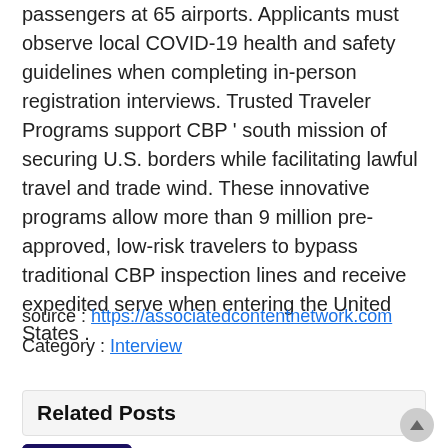passengers at 65 airports. Applicants must observe local COVID-19 health and safety guidelines when completing in-person registration interviews. Trusted Traveler Programs support CBP ' south mission of securing U.S. borders while facilitating lawful travel and trade wind. These innovative programs allow more than 9 million pre-approved, low-risk travelers to bypass traditional CBP inspection lines and receive expedited serve when entering the United States .
source : https://associatedcontentnetwork.com
Category : Interview
Related Posts
Top 25 Reference Librarian Interview Questions and Answers in 2022 –...